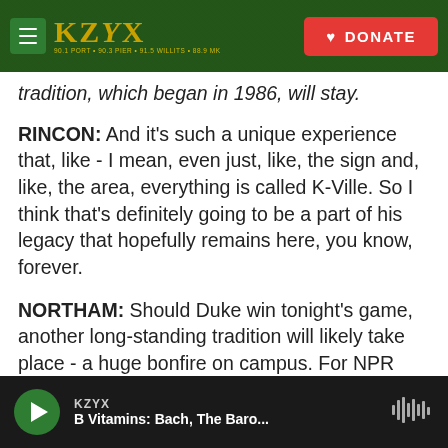KZYX — DONATE
tradition, which began in 1986, will stay.
RINCON: And it's such a unique experience that, like - I mean, even just, like, the sign and, like, the area, everything is called K-Ville. So I think that's definitely going to be a part of his legacy that hopefully remains here, you know, forever.
NORTHAM: Should Duke win tonight's game, another long-standing tradition will likely take place - a huge bonfire on campus. For NPR News, I'm Mitchell Northam in Durham, N.C.
(SOUNDBITE OF THE VINES SONG, "MARY JANE")
KZYX — B Vitamins: Bach, The Baro...